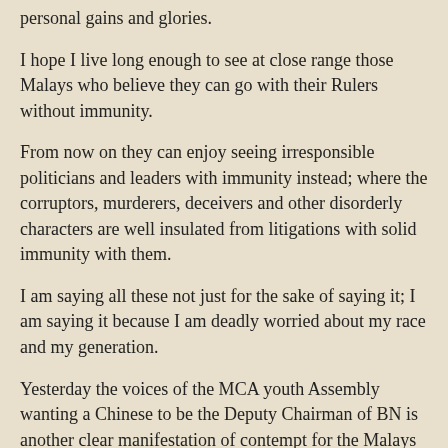personal gains and glories.
I hope I live long enough to see at close range those Malays who believe they can go with their Rulers without immunity.
From now on they can enjoy seeing irresponsible politicians and leaders with immunity instead; where the corruptors, murderers, deceivers and other disorderly characters are well insulated from litigations with solid immunity with them.
I am saying all these not just for the sake of saying it; I am saying it because I am deadly worried about my race and my generation.
Yesterday the voices of the MCA youth Assembly wanting a Chinese to be the Deputy Chairman of BN is another clear manifestation of contempt for the Malays and the Federal Constitution.
This wouldn't have happen if the Malay leadership is respected and well regarded by the fellow component parties.